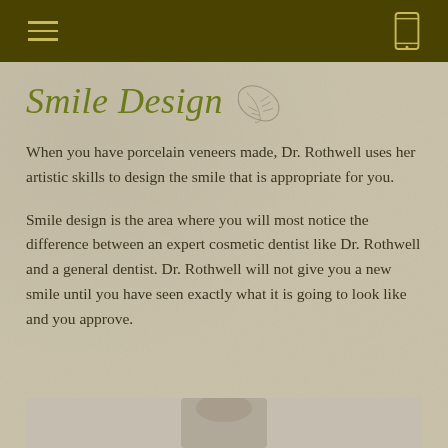Smile Design
When you have porcelain veneers made, Dr. Rothwell uses her artistic skills to design the smile that is appropriate for you.
Smile design is the area where you will most notice the difference between an expert cosmetic dentist like Dr. Rothwell and a general dentist. Dr. Rothwell will not give you a new smile until you have seen exactly what it is going to look like and you approve.
[Figure (photo): Bottom strip showing partial photo, presumably of Dr. Rothwell or a patient smile]